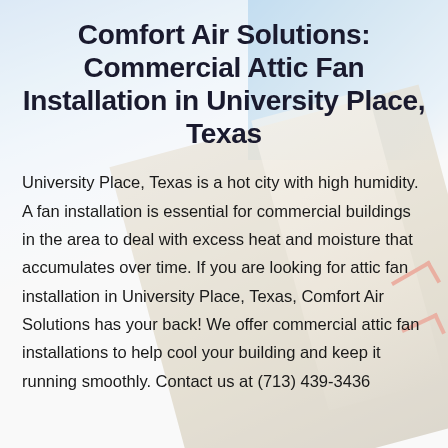Comfort Air Solutions: Commercial Attic Fan Installation in University Place, Texas
University Place, Texas is a hot city with high humidity. A fan installation is essential for commercial buildings in the area to deal with excess heat and moisture that accumulates over time. If you are looking for attic fan installation in University Place, Texas, Comfort Air Solutions has your back! We offer commercial attic fan installations to help cool your building and keep it running smoothly. Contact us at (713) 439-3436